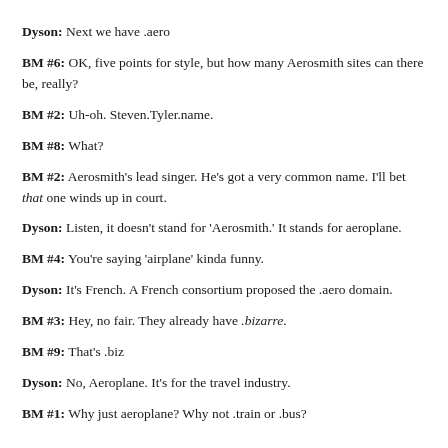Dyson: Next we have .aero
BM #6: OK, five points for style, but how many Aerosmith sites can there be, really?
BM #2: Uh-oh. Steven.Tyler.name.
BM #8: What?
BM #2: Aerosmith's lead singer. He's got a very common name. I'll bet that one winds up in court.
Dyson: Listen, it doesn't stand for 'Aerosmith.' It stands for aeroplane.
BM #4: You're saying 'airplane' kinda funny.
Dyson: It's French. A French consortium proposed the .aero domain.
BM #3: Hey, no fair. They already have .bizarre.
BM #9: That's .biz
Dyson: No, Aeroplane. It's for the travel industry.
BM #1: Why just aeroplane? Why not .train or .bus?